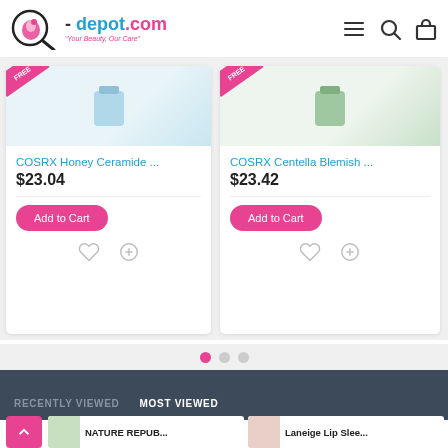[Figure (screenshot): E-commerce website header with logo showing a flamingo in a magnifying glass, text '- depot.com' and tagline 'Your Beauty, Our Care', plus hamburger menu, search and bag icons]
[Figure (photo): Product card for COSRX Honey Ceramide with sale badge, price $23.04, Add to Cart button, heart and compare icons]
COSRX Honey Ceramide ...
$23.04
[Figure (photo): Product card for COSRX Centella Blemish with sale badge, price $23.42, Add to Cart button, heart and compare icons]
COSRX Centella Blemish ...
$23.42
RECENTLY VIEWED
MOST VIEWED
NATURE REPUB...
Laneige Lip Slee...
Home   Wholesale Price   Order Tracking   FAQ   Chat